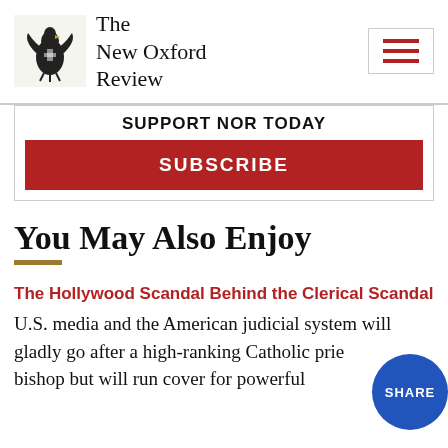The New Oxford Review
SUPPORT NOR TODAY
SUBSCRIBE
You May Also Enjoy
The Hollywood Scandal Behind the Clerical Scandal
U.S. media and the American judicial system will gladly go after a high-ranking Catholic priest or bishop but will run cover for powerful